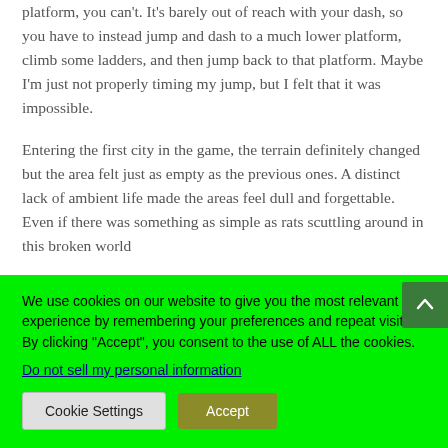platform, you can't. It's barely out of reach with your dash, so you have to instead jump and dash to a much lower platform, climb some ladders, and then jump back to that platform. Maybe I'm just not properly timing my jump, but I felt that it was impossible.
Entering the first city in the game, the terrain definitely changed but the area felt just as empty as the previous ones. A distinct lack of ambient life made the areas feel dull and forgettable. Even if there was something as simple as rats scuttling around in this broken world
We use cookies on our website to give you the most relevant experience by remembering your preferences and repeat visits. By clicking “Accept”, you consent to the use of ALL the cookies.
Do not sell my personal information
Cookie Settings
Accept